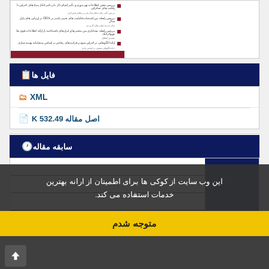[Figure (screenshot): Document preview thumbnail showing a Persian academic paper with bullet points and a dark red footer bar]
فایل ها
XML
اصل مقاله 532.49 K
سابقه مقاله
این وب سایت از کوکی ها برای اطمینان از ارانه بهترین خدمات استفاده می کند.
متوجه شدم
ار